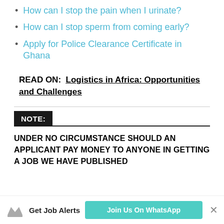How can I stop the pain when I urinate?
How can I stop sperm from coming early?
Apply for Police Clearance Certificate in Ghana
READ ON:  Logistics in Africa: Opportunities and Challenges
NOTE:
UNDER NO CIRCUMSTANCE SHOULD AN APPLICANT PAY MONEY TO ANYONE IN GETTING A JOB WE HAVE PUBLISHED
Get Job Alerts  Join Us On WhatsApp